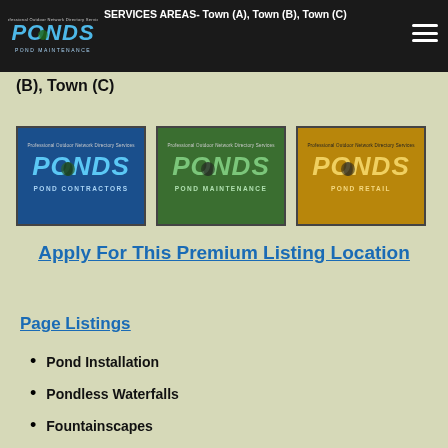Professional Outdoor Network Directory Services – PONDS Pond Maintenance
SERVICES AREAS- Town (A), Town (B), Town (C)
[Figure (logo): Three PONDS logo images side by side: Pond Contractors (blue background), Pond Maintenance (green background), Pond Retail (gold background)]
Apply For This Premium Listing Location
Page Listings
Pond Installation
Pondless Waterfalls
Fountainscapes